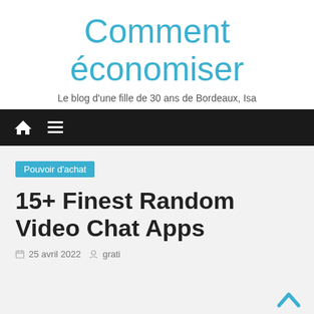Comment économiser
Le blog d'une fille de 30 ans de Bordeaux, Isa
[Figure (other): Dark navigation bar with home icon and hamburger menu icon]
Pouvoir d'achat
15+ Finest Random Video Chat Apps
25 avril 2022   grati